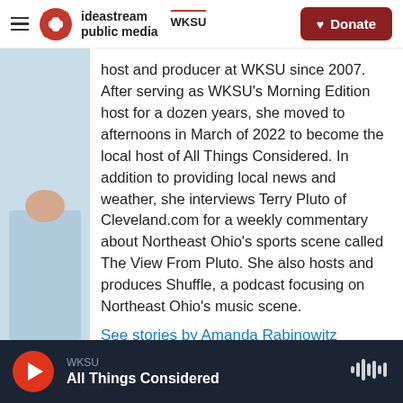ideastream public media | WKSU | Donate
[Figure (photo): Partial view of a person wearing a light blue shirt, cropped profile image]
host and producer at WKSU since 2007. After serving as WKSU's Morning Edition host for a dozen years, she moved to afternoons in March of 2022 to become the local host of All Things Considered. In addition to providing local news and weather, she interviews Terry Pluto of Cleveland.com for a weekly commentary about Northeast Ohio's sports scene called The View From Pluto. She also hosts and produces Shuffle, a podcast focusing on Northeast Ohio's music scene.
See stories by Amanda Rabinowitz
WKSU | All Things Considered